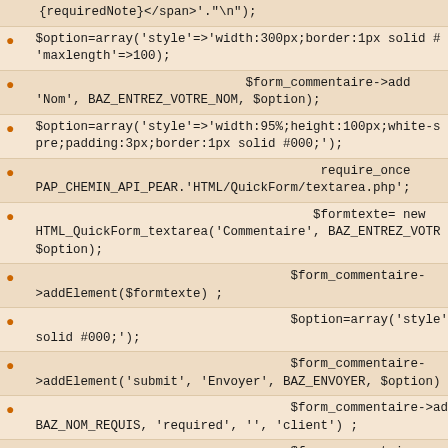{requiredNote}</span>'."\n");
$option=array('style'=>'width:300px;border:1px solid #
'maxlength'=>100);
$form_commentaire->add
'Nom', BAZ_ENTREZ_VOTRE_NOM, $option);
$option=array('style'=>'width:95%;height:100px;white-s
pre;padding:3px;border:1px solid #000;');
require_once
PAP_CHEMIN_API_PEAR.'HTML/QuickForm/textarea.php';
$formtexte= new
HTML_QuickForm_textarea('Commentaire', BAZ_ENTREZ_VOTR
$option);
$form_commentaire-
>addElement($formtexte) ;
$option=array('style'=
solid #000;');
$form_commentaire-
>addElement('submit', 'Envoyer', BAZ_ENVOYER, $option)
$form_commentaire->add
BAZ_NOM_REQUIS, 'required', '', 'client') ;
$form_commentaire-
>addRule('Commentaire', BAZ_COMMENTAIRE_REQUIS, 'requi
'client') ;